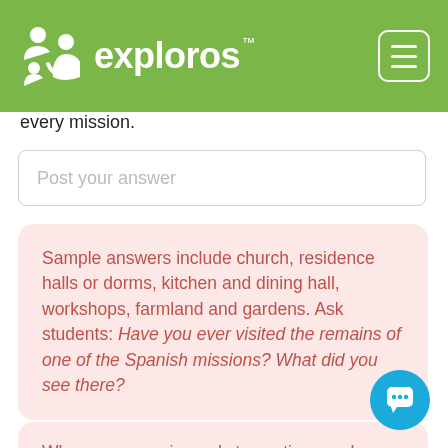exploros
every mission.
Post your answer
Sample answers include church, residence halls or dorms, kitchen and dining hall, workshops, farmland and gardens. Ask students: Have you ever visited the remains of one of the Spanish missions? What did you see there?
When everyone is ready to continue, unlock the next scene.